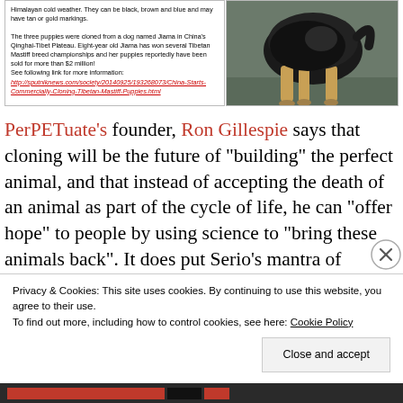Himalayan cold weather. They can be black, brown and blue and may have tan or gold markings.

The three puppies were cloned from a dog named Jiama in China's Qinghai-Tibet Plateau. Eight-year old Jiama has won several Tibetan Mastiff breed championships and her puppies reportedly have been sold for more than $2 million! See following link for more information:
http://sputniknews.com/society/20140925/193268073/China-Starts-Commercially-Cloning-Tibetan-Mastiff-Puppies.html
[Figure (photo): Photo of a dog (appears to be a Tibetan Mastiff) standing on a surface, photographed from behind/side showing dark fur and tan/gold legs.]
PerPETuate's founder, Ron Gillespie says that cloning will be the future of "building" the perfect animal, and that instead of accepting the death of an animal as part of the cycle of life, he can "offer hope" to people by using science to "bring these animals back". It does put Serio's mantra of "Karmis Forever" into a whole new
Privacy & Cookies: This site uses cookies. By continuing to use this website, you agree to their use.
To find out more, including how to control cookies, see here: Cookie Policy
Close and accept